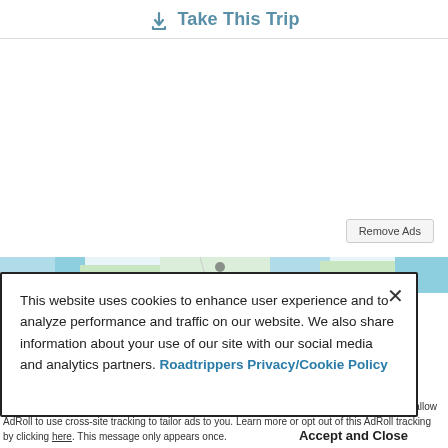Take This Trip
[Figure (map): Partial map view showing topographic/road map with blue water features and green terrain]
This website uses cookies to enhance user experience and to analyze performance and traffic on our website. We also share information about your use of our site with our social media and analytics partners. Roadtrippers Privacy/Cookie Policy
Accept and Close
Your browser settings do not allow cross-site tracking for advertising. Click on this page to allow AdRoll to use cross-site tracking to tailor ads to you. Learn more or opt out of this AdRoll tracking by clicking here. This message only appears once.